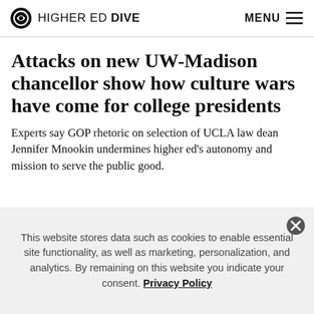HIGHER ED DIVE   MENU
Attacks on new UW-Madison chancellor show how culture wars have come for college presidents
Experts say GOP rhetoric on selection of UCLA law dean Jennifer Mnookin undermines higher ed's autonomy and mission to serve the public good.
This website stores data such as cookies to enable essential site functionality, as well as marketing, personalization, and analytics. By remaining on this website you indicate your consent. Privacy Policy